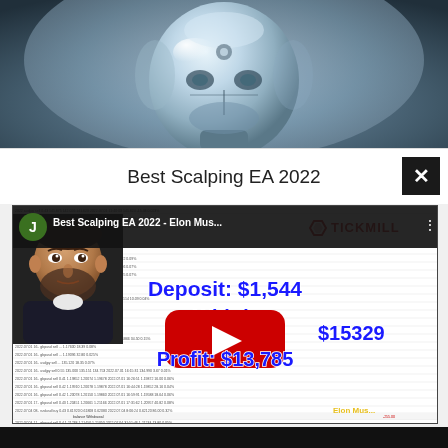[Figure (photo): Robotic/metallic humanoid head with glossy silver surface, close-up shot against gradient background]
Best Scalping EA 2022
[Figure (screenshot): YouTube video thumbnail showing 'Best Scalping EA 2022 - Elon Mus...' with trading data table background, Tickmill logo, person photo, overlay text: Deposit: $1,544 / Withdrawal: $15329 / Profit: $13,785, and YouTube play button]